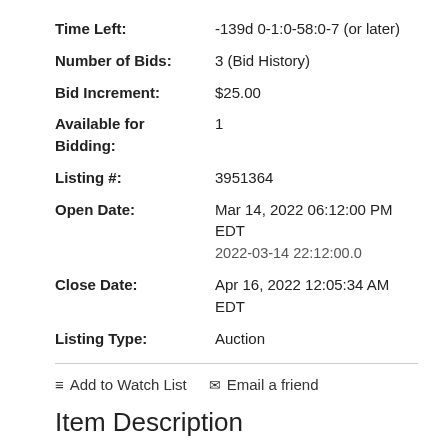Time Left: -139d 0-1:0-58:0-7 (or later)
Number of Bids: 3 (Bid History)
Bid Increment: $25.00
Available for Bidding: 1
Listing #: 3951364
Open Date: Mar 14, 2022 06:12:00 PM EDT
2022-03-14 22:12:00.0
Close Date: Apr 16, 2022 12:05:34 AM EDT
Listing Type: Auction
☰ Add to Watch List  ✉ Email a friend
Item Description